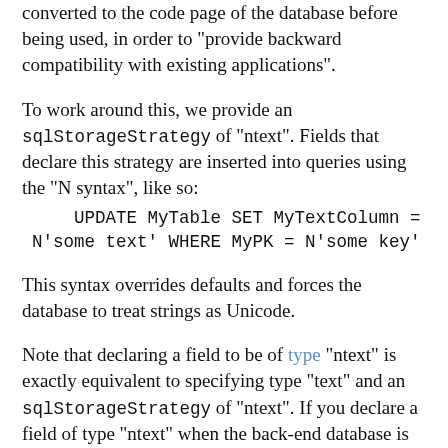converted to the code page of the database before being used, in order to "provide backward compatibility with existing applications".
To work around this, we provide an sqlStorageStrategy of "ntext". Fields that declare this strategy are inserted into queries using the "N syntax", like so:
    UPDATE MyTable SET MyTextColumn = N'some text' WHERE MyPK = N'some key'
This syntax overrides defaults and forces the database to treat strings as Unicode.
Note that declaring a field to be of type "ntext" is exactly equivalent to specifying type "text" and an sqlStorageStrategy of "ntext". If you declare a field of type "ntext" when the back-end database is something other than SQL Server, it will be treated as